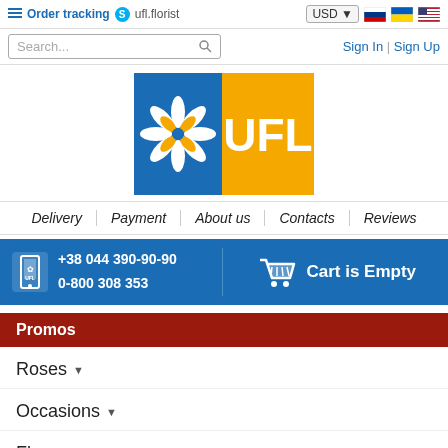Order tracking  ufl.florist   USD  Sign In | Sign Up
Search...
[Figure (logo): UFL florist logo - blue square with white snowflake/flower and orange rectangle with white text UFL]
Delivery | Payment | About us | Contacts | Reviews
+38 044 390-90-90  0-800 308 353  Cart is Empty
Promos
Roses
Occasions
Flowers